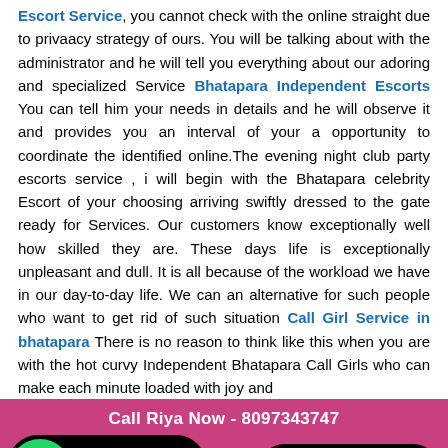Escort Service, you cannot check with the online straight due to privaacy strategy of ours. You will be talking about with the administrator and he will tell you everything about our adoring and specialized Service Bhatapara Independent Escorts You can tell him your needs in details and he will observe it and provides you an interval of your a opportunity to coordinate the identified online.The evening night club party escorts service , i will begin with the Bhatapara celebrity Escort of your choosing arriving swiftly dressed to the gate ready for Services. Our customers know exceptionally well how skilled they are. These days life is exceptionally unpleasant and dull. It is all because of the workload we have in our day-to-day life. We can an alternative for such people who want to get rid of such situation Call Girl Service in bhatapara There is no reason to think like this when you are with the hot curvy Independent Bhatapara Call Girls who can make each minute loaded with joy and
Call Riya Now - 8097343747
[Figure (infographic): WhatsApp button (green circle with phone icon, black rounded rectangle with 'Whatsapp click to chat') and Call us Now button (green rounded rectangle with phone icon, black rounded rectangle with 'Call us Now.')]
WhatsApp To Riya - 8097343747